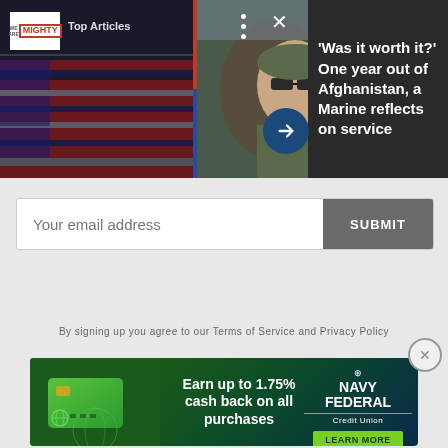[Figure (screenshot): Top banner showing We Are The Mighty logo, 'Top Articles' label, flag-draped coffins image on left, selfie of soldier with children on right, and three-dot menu / X close button overlay]
'Was it worth it?' One year out of Afghanistan, a Marine reflects on service
Your email address
SUBMIT
By signing up you agree to our Terms of Service and Privacy Policy
[Figure (infographic): Navy Federal Credit Union advertisement: green credit card graphic on left, 'Earn up to 1.75% cash back on all purchases' text center, Navy Federal Credit Union logo with globe icon and LEARN MORE green button on right, dark navy/green background]